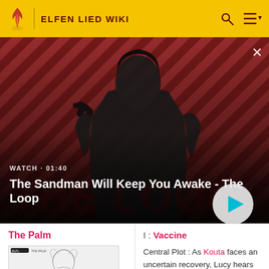ELFEN LIED WIKI
[Figure (screenshot): Video banner: The Sandman Will Keep You Awake - The Loop. WATCH • 01:40. Dark figure with raven on striped red/dark background. Play button visible.]
The Palm
I : Vaccine
[Figure (illustration): Manga thumbnail image for 'The Palm' chapter]
Central Plot : As Kouta faces an uncertain recovery, Lucy hears